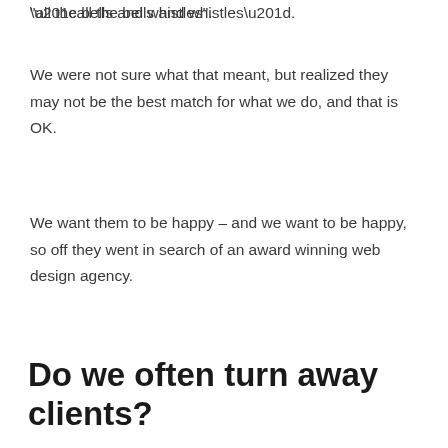“all the bells and whistles”.
We were not sure what that meant, but realized they may not be the best match for what we do, and that is OK.
We want them to be happy – and we want to be happy, so off they went in search of an award winning web design agency.
Do we often turn away clients?